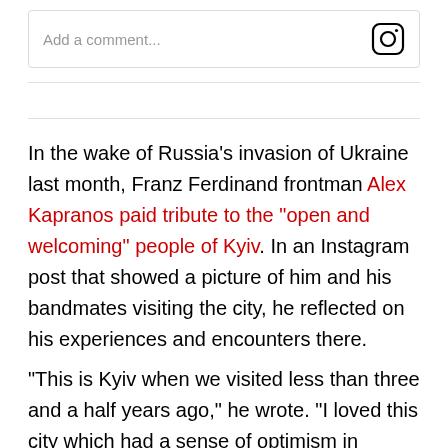[Figure (screenshot): Instagram comment input box with placeholder text 'Add a comment...' and Instagram camera icon on the right]
In the wake of Russia's invasion of Ukraine last month, Franz Ferdinand frontman Alex Kapranos paid tribute to the “open and welcoming” people of Kyiv. In an Instagram post that showed a picture of him and his bandmates visiting the city, he reflected on his experiences and encounters there.
“This is Kyiv when we visited less than three and a half years ago,” he wrote. “I loved this city which had a sense of optimism in amongst the deep